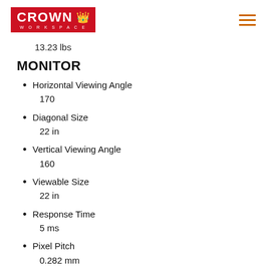CROWN WORKSPACE
13.23 lbs
MONITOR
Horizontal Viewing Angle
170
Diagonal Size
22 in
Vertical Viewing Angle
160
Viewable Size
22 in
Response Time
5 ms
Pixel Pitch
0.282 mm